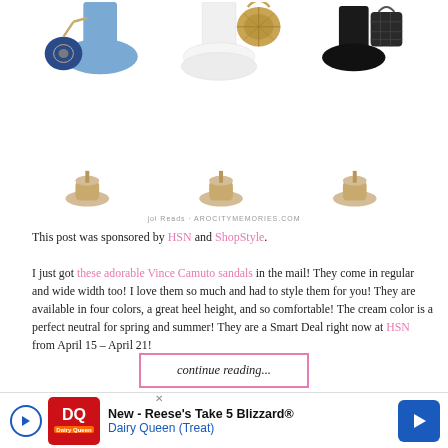[Figure (photo): Three summer outfit collages each featuring clothing (blue dress, white dress, black outfit) with straw/rattan bags and cream espadrille sandals, arranged in two rows. A watermark text appears below.]
This post was sponsored by HSN and ShopStyle.
I just got these adorable Vince Camuto sandals in the mail! They come in regular and wide width too! I love them so much and had to style them for you! They are available in four colors, a great heel height, and so comfortable! The cream color is a perfect neutral for spring and summer! They are a Smart Deal right now at HSN from April 15 – April 21!
continue reading...
[Figure (other): Advertisement bar: New - Reese's Take 5 Blizzard® Dairy Queen (Treat) with DQ logo and blue arrow button]